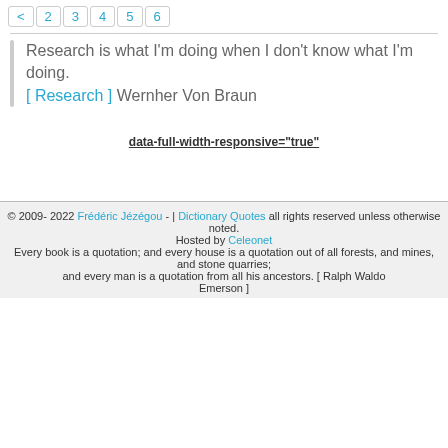< 2 3 4 5 6
Research is what I'm doing when I don't know what I'm doing. [ Research ] Wernher Von Braun
data-full-width-responsive="true"
© 2009- 2022 Frédéric Jézégou - | Dictionary Quotes all rights reserved unless otherwise noted. Hosted by Celeonet Every book is a quotation; and every house is a quotation out of all forests, and mines, and stone quarries; and every man is a quotation from all his ancestors. [ Ralph Waldo Emerson ]